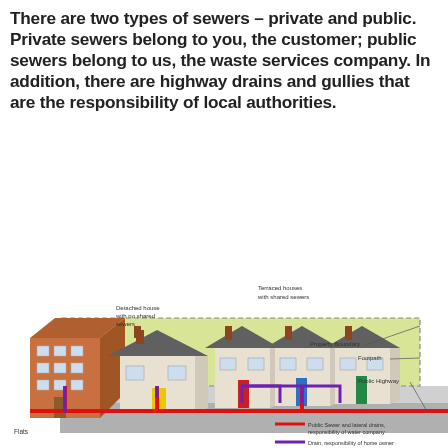There are two types of sewers – private and public. Private sewers belong to you, the customer; public sewers belong to us, the waste services company. In addition, there are highway drains and gullies that are the responsibility of local authorities.
[Figure (infographic): Isometric diagram showing different types of buildings (flats, detached house, terraced houses) with colour-coded underground sewers. Labels indicate: Flats, Detached house with no shared sewers, Terraced houses with shared sewers, Property Boundary, Footpath, Public Highway. Legend: Red line = Public Sewer and lateral drains, responsibility of water company; Purple line = Drain, responsibility of home owner.]